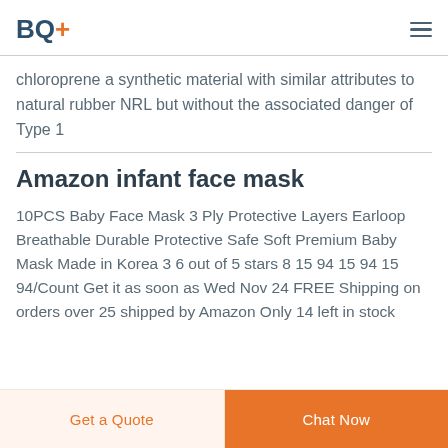BQ+
chloroprene a synthetic material with similar attributes to natural rubber NRL but without the associated danger of Type 1
Amazon infant face mask
10PCS Baby Face Mask 3 Ply Protective Layers Earloop Breathable Durable Protective Safe Soft Premium Baby Mask Made in Korea 3 6 out of 5 stars 8 15 94 15 94 15 94/Count Get it as soon as Wed Nov 24 FREE Shipping on orders over 25 shipped by Amazon Only 14 left in stock